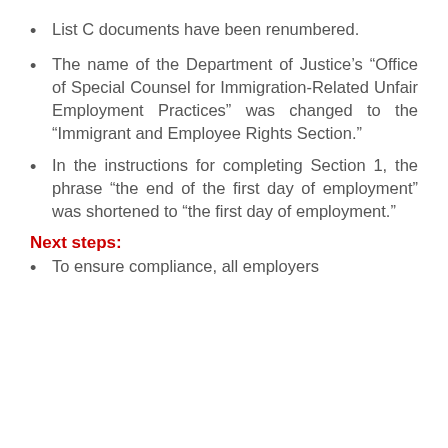List C documents have been renumbered.
The name of the Department of Justice’s “Office of Special Counsel for Immigration-Related Unfair Employment Practices” was changed to the “Immigrant and Employee Rights Section.”
In the instructions for completing Section 1, the phrase “the end of the first day of employment” was shortened to “the first day of employment.”
Next steps:
To ensure compliance, all employers